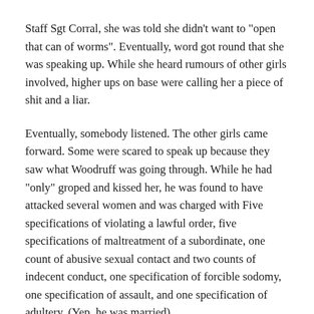Staff Sgt Corral, she was told she didn't want to "open that can of worms". Eventually, word got round that she was speaking up. While she heard rumours of other girls involved, higher ups on base were calling her a piece of shit and a liar.
Eventually, somebody listened. The other girls came forward. Some were scared to speak up because they saw what Woodruff was going through. While he had "only" groped and kissed her, he was found to have attacked several women and was charged with Five specifications of violating a lawful order, five specifications of maltreatment of a subordinate, one count of abusive sexual contact and two counts of indecent conduct, one specification of forcible sodomy, one specification of assault, and one specification of adultery. (Yep, he was married)